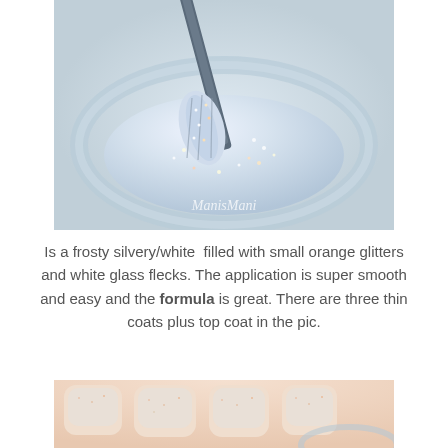[Figure (photo): Close-up photo of a nail polish brush being pulled from a glass jar, showing silvery/white glittery polish with orange glitter flecks. Watermark reads 'ManisMani'.]
Is a frosty silvery/white filled with small orange glitters and white glass flecks. The application is super smooth and easy and the formula is great. There are three thin coats plus top coat in the pic.
[Figure (photo): Close-up photo of manicured fingernails painted with a frosty silvery/white nail polish with small orange glitter flecks, three thin coats plus top coat.]